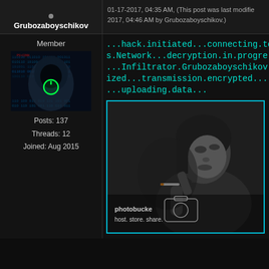Grubozaboyschikov
01-17-2017, 04:35 AM, (This post was last modified: 01-17-2017, 04:46 AM by Grubozaboyschikov.)
Member
[Figure (illustration): Avatar image of hooded hacker figure with glowing green power button, binary code background]
Posts: 137
Threads: 12
Joined: Aug 2015
...hack.initiated...connecting.to.S s.Network...decryption.in.progre ...Infiltrator.Grubozaboyschikov ized...transmission.encrypted... ...uploading.data...
[Figure (photo): Black and white photo of a young woman smoking a cigarette with Photobucket watermark overlay reading 'host. store. share.']